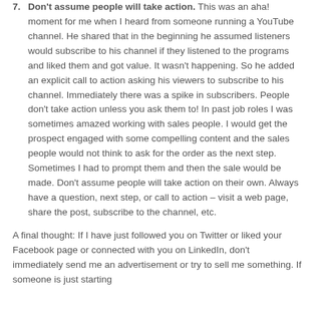7. Don't assume people will take action. This was an aha! moment for me when I heard from someone running a YouTube channel. He shared that in the beginning he assumed listeners would subscribe to his channel if they listened to the programs and liked them and got value. It wasn't happening. So he added an explicit call to action asking his viewers to subscribe to his channel. Immediately there was a spike in subscribers. People don't take action unless you ask them to! In past job roles I was sometimes amazed working with sales people. I would get the prospect engaged with some compelling content and the sales people would not think to ask for the order as the next step. Sometimes I had to prompt them and then the sale would be made. Don't assume people will take action on their own. Always have a question, next step, or call to action – visit a web page, share the post, subscribe to the channel, etc.
A final thought: If I have just followed you on Twitter or liked your Facebook page or connected with you on LinkedIn, don't immediately send me an advertisement or try to sell me something. If someone is just starting